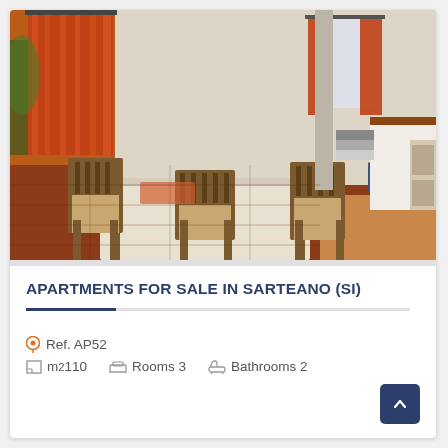[Figure (photo): Interior photo of an apartment showing a dining area with wooden table and chairs, orange curtains on windows, a blue sofa in the background, kitchen counter on the right, and terracotta tile flooring.]
APARTMENTS FOR SALE IN SARTEANO (SI)
Ref. AP52
m² 110   Rooms 3   Bathrooms 2